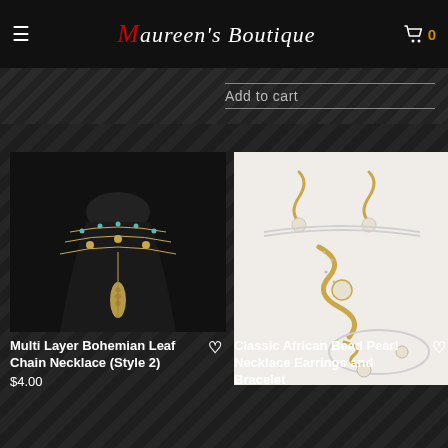Maureen's Boutique — navigation header with hamburger menu and cart (0 items)
Add to cart
[Figure (photo): Multi layer bohemian leaf chain necklace on a black mannequin bust, gold layered chains with teal beads and a feather pendant]
Multi Layer Bohemian Leaf Chain Necklace (Style 2)
$4.00
[Figure (photo): Classic African bead pearl necklace earrings and bracelet set on white background, gold S-curve design with pearl accents and rhinestones]
Classic African Bead Pearl Necklace Earrings and Bracelet